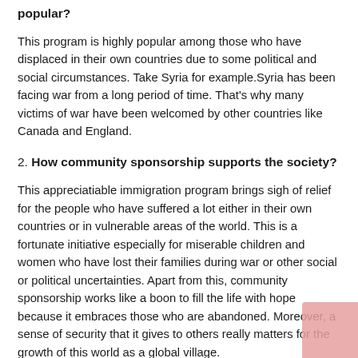popular?
This program is highly popular among those who have displaced in their own countries due to some political and social circumstances. Take Syria for example.Syria has been facing war from a long period of time. That's why many victims of war have been welcomed by other countries like Canada and England.
2. How community sponsorship supports the society?
This appreciatiable immigration program brings sigh of relief for the people who have suffered a lot either in their own countries or in vulnerable areas of the world. This is a fortunate initiative especially for miserable children and women who have lost their families during war or other social or political uncertainties. Apart from this, community sponsorship works like a boon to fill the life with hope because it embraces those who are abandoned. Moreover, a sense of security that it gives to others really matters for the growth of this world as a global village.
3. How community sponsorship works?